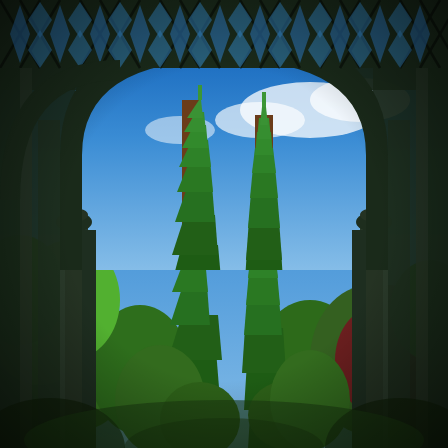[Figure (photo): A photograph taken from beneath a decorative white cast-iron or wrought-iron gazebo arch, looking upward and outward. The ornate lattice roof with X and star patterns frames the top of the image in dark silhouette. A large curved Gothic arch with slender columns on either side frames the view. Through the arch, two tall conical evergreen trees (likely giant sequoias or similar conifers) rise against a bright blue sky with wispy white clouds. Surrounding trees with lush green foliage fill the lower portions; a tree with dark reddish-purple leaves is visible on the right side. The overall scene evokes a formal Victorian or Edwardian garden setting.]